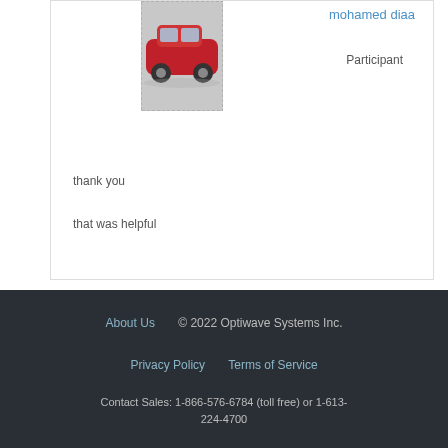[Figure (photo): Photo of a red sports car (Dodge Challenger style) parked on a surface, partially pixelated border]
mohamed diaa
Participant
thank you

that was helpful
About Us   © 2022 Optiwave Systems Inc.   Privacy Policy   Terms of Service   Contact Sales: 1-866-576-6784 (toll free) or 1-613-224-4700